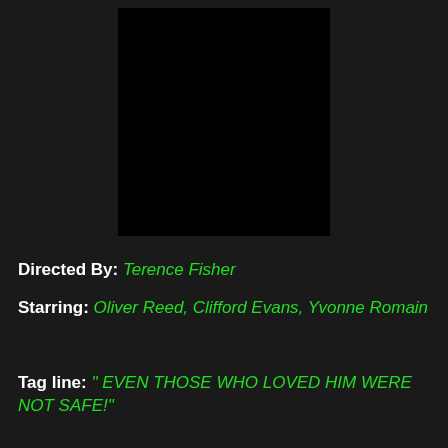[Figure (photo): Black rectangle representing a movie poster image placeholder]
Directed By: Terence Fisher
Starring: Oliver Reed, Clifford Evans, Yvonne Romain
Tag line: " EVEN THOSE WHO LOVED HIM WERE NOT SAFE!"